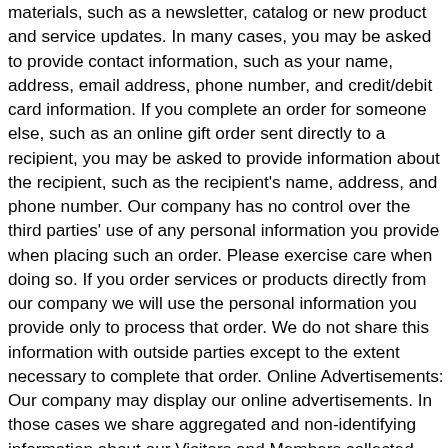materials, such as a newsletter, catalog or new product and service updates. In many cases, you may be asked to provide contact information, such as your name, address, email address, phone number, and credit/debit card information. If you complete an order for someone else, such as an online gift order sent directly to a recipient, you may be asked to provide information about the recipient, such as the recipient's name, address, and phone number. Our company has no control over the third parties' use of any personal information you provide when placing such an order. Please exercise care when doing so. If you order services or products directly from our company we will use the personal information you provide only to process that order. We do not share this information with outside parties except to the extent necessary to complete that order. Online Advertisements: Our company may display our online advertisements. In those cases we share aggregated and non-identifying information about our Visitors and Members collected through the registration process as well as through online surveys and promotions with these advertisers. Additionally, in some instances, we use this aggregated and non-identifying information to deliver tailored advertisements or joint ventures. For